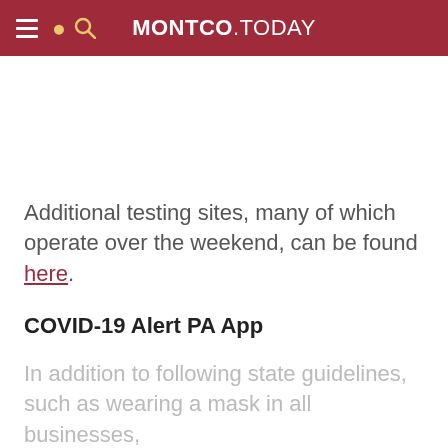MONTCO.TODAY
Additional testing sites, many of which operate over the weekend, can be found here.
COVID-19 Alert PA App
In addition to following state guidelines, such as wearing a mask in all businesses,